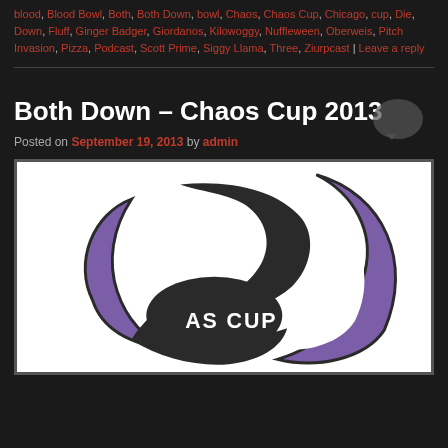blood, Blood Bowl, Both, Both Down, bowl, Chaos, Chaos Cup, Chicago, cup, Die, Down, Fluff, Ginger Badger, Giordanos, Kilowoggy, Nuffleween, Oberweis, Pitch Invasion, Pizza, Podcast, Scott Prime, Siggy Llama, Three, Ziurpcast | Leave a reply
Both Down – Chaos Cup 2013
Posted on September 19, 2013 by admin
[Figure (logo): Chaos Cup 2013 logo — black and purple chaos star/crescent symbol over white background with partial text 'AS CUP' visible at bottom]